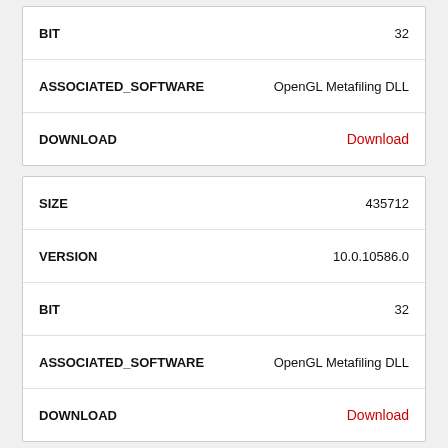| Field | Value |
| --- | --- |
| BIT | 32 |
| ASSOCIATED_SOFTWARE | OpenGL Metafiling DLL |
| DOWNLOAD | Download |
| Field | Value |
| --- | --- |
| SIZE | 435712 |
| VERSION | 10.0.10586.0 |
| BIT | 32 |
| ASSOCIATED_SOFTWARE | OpenGL Metafiling DLL |
| DOWNLOAD | Download |
| Field | Value |
| --- | --- |
| SIZE | 457728 |
| VERSION | 6.0.6000.16386 |
| BIT | 64 |